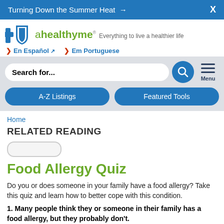Turning Down the Summer Heat →  X
[Figure (logo): Blue Cross Blue Shield plus sign and shield logo with ahealthyme wordmark and tagline 'Everything to live a healthier life']
En Español  Em Portuguese
Search for...
RELATED READING
Food Allergy Quiz
Do you or does someone in your family have a food allergy? Take this quiz and learn how to better cope with this condition.
1. Many people think they or someone in their family has a food allergy, but they probably don't.